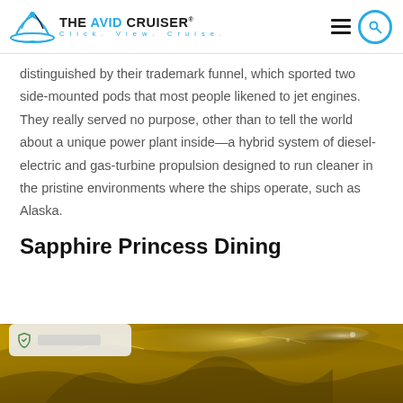THE AVID CRUISER® Click. View. Cruise.
distinguished by their trademark funnel, which sported two side-mounted pods that most people likened to jet engines. They really served no purpose, other than to tell the world about a unique power plant inside—a hybrid system of diesel-electric and gas-turbine propulsion designed to run cleaner in the pristine environments where the ships operate, such as Alaska.
Sapphire Princess Dining
[Figure (photo): Golden/amber toned interior photo showing curved ceiling architecture of a ship dining area, with warm metallic reflective surfaces and ambient lighting.]